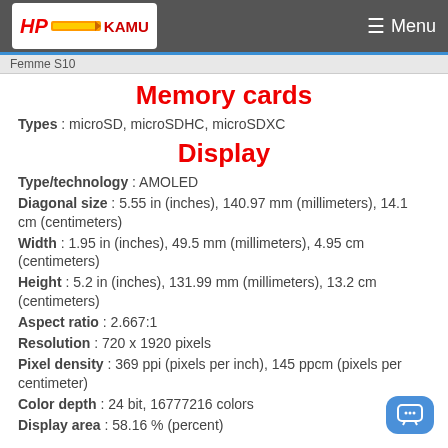HP KAMU — Menu
Femme S10
Memory cards
Types : microSD, microSDHC, microSDXC
Display
Type/technology : AMOLED
Diagonal size : 5.55 in (inches), 140.97 mm (millimeters), 14.1 cm (centimeters)
Width : 1.95 in (inches), 49.5 mm (millimeters), 4.95 cm (centimeters)
Height : 5.2 in (inches), 131.99 mm (millimeters), 13.2 cm (centimeters)
Aspect ratio : 2.667:1
Resolution : 720 x 1920 pixels
Pixel density : 369 ppi (pixels per inch), 145 ppcm (pixels per centimeter)
Color depth : 24 bit, 16777216 colors
Display area : 58.16 % (percent)